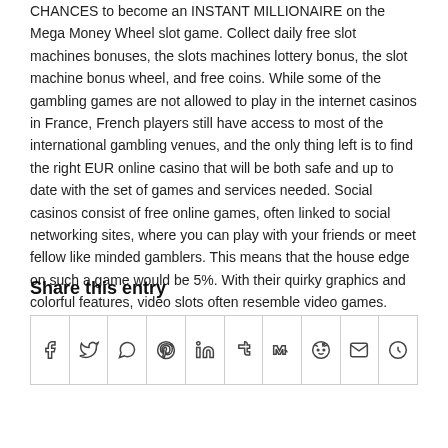CHANCES to become an INSTANT MILLIONAIRE on the Mega Money Wheel slot game. Collect daily free slot machines bonuses, the slots machines lottery bonus, the slot machine bonus wheel, and free coins. While some of the gambling games are not allowed to play in the internet casinos in France, French players still have access to most of the international gambling venues, and the only thing left is to find the right EUR online casino that will be both safe and up to date with the set of games and services needed. Social casinos consist of free online games, often linked to social networking sites, where you can play with your friends or meet fellow like minded gamblers. This means that the house edge on such a game would be 5%. With their quirky graphics and colorful features, video slots often resemble video games.
Share this entry
[Figure (other): Row of 10 social sharing icon buttons: Facebook, Twitter, WhatsApp, Pinterest, LinkedIn, Tumblr, VK, Reddit, Email, Yelp]